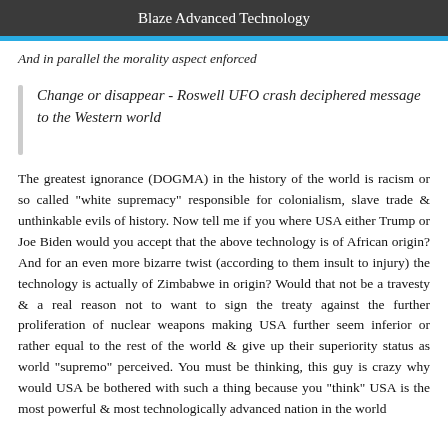Blaze Advanced Technology
And in parallel the morality aspect enforced
Change or disappear - Roswell UFO crash deciphered message to the Western world
The greatest ignorance (DOGMA) in the history of the world is racism or so called "white supremacy" responsible for colonialism, slave trade & unthinkable evils of history. Now tell me if you where USA either Trump or Joe Biden would you accept that the above technology is of African origin? And for an even more bizarre twist (according to them insult to injury) the technology is actually of Zimbabwe in origin? Would that not be a travesty & a real reason not to want to sign the treaty against the further proliferation of nuclear weapons making USA further seem inferior or rather equal to the rest of the world & give up their superiority status as world "supremo" perceived. You must be thinking, this guy is crazy why would USA be bothered with such a thing because you "think" USA is the most powerful & most technologically advanced nation in the world